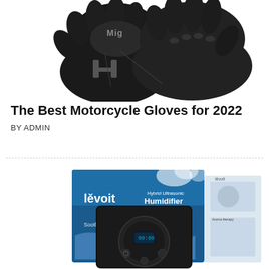[Figure (photo): Black motorcycle gloves with 'Mig' branding, shown from above on white background]
The Best Motorcycle Gloves for 2022
BY ADMIN
[Figure (photo): Levoit Hybrid Ultrasonic Humidifier product box and device, showing the black humidifier unit with circular control panel and blue display, alongside the packaging box featuring steam imagery and 'Soothing Relief' text]